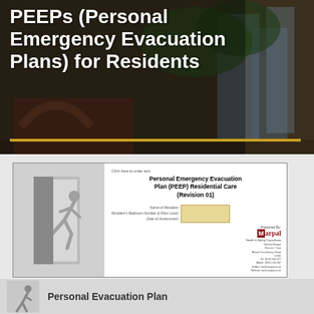Homes Completing PEEPs (Personal Emergency Evacuation Plans) for Residents
[Figure (illustration): Document thumbnail of Personal Emergency Evacuation Plan (PEEP) Residential Care (Revision 01) with exit sign icon on left side, fields for Name of Resident, Resident's Bedroom Number & Floor Level, Date of Assessment, and Marpal branding on right]
[Figure (illustration): Partial view of another document with Personal Evacuation Plan text and exit figure icon]